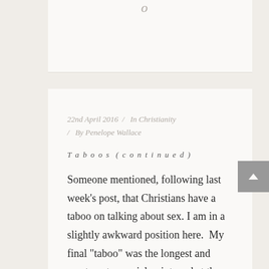o
22nd April 2016  /  In Christianity  /  By Penelope Wallace
Taboos (continued)
Someone mentioned, following last week’s post, that Christians have a taboo on talking about sex. I am in a slightly awkward position here.  My final “taboo” was the longest and most controversial point, and at the last minute on